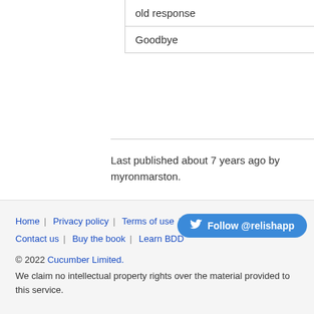| old response |
| Goodbye |
Last published about 7 years ago by myronmarston.
Home | Privacy policy | Terms of use | T... | Contact us | Buy the book | Learn BDD   Follow @relishapp   © 2022 Cucumber Limited.   We claim no intellectual property rights over the material provided to this service.